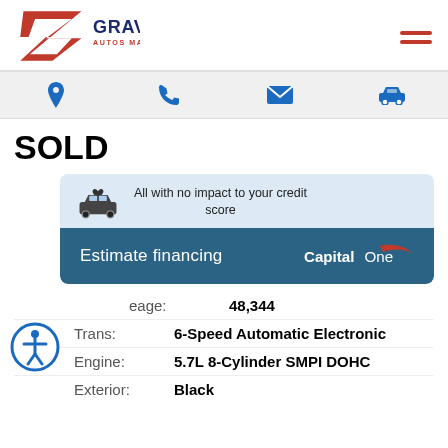[Figure (logo): Gravity Autos Marietta logo with red stylized G and blue text]
[Figure (infographic): Navigation icon bar with location pin, phone, email, and car icons in blue on light gray background]
SOLD
[Figure (infographic): Capital One financing widget: 'All with no impact to your credit score' with car icon, and 'Estimate financing' button with Capital One logo]
Mileage: 48,344
Trans: 6-Speed Automatic Electronic
Engine: 5.7L 8-Cylinder SMPI DOHC
Exterior: Black